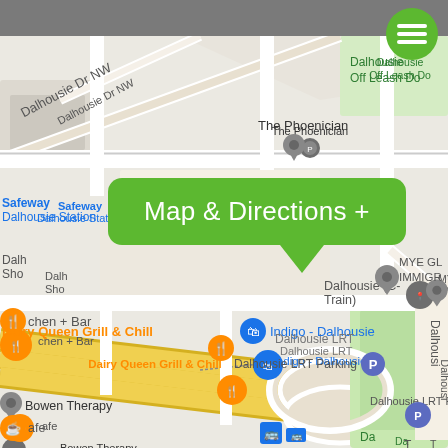[Figure (map): Google Maps screenshot showing Dalhousie area in Calgary, NW. Visible locations include: The Phoenician, Safeway Dalhousie Station, Dalhousie Off Leash Dog Park, Dalhousie (C-Train) station, Dairy Queen Grill & Chill, Indigo - Dalhousie, Dalhousie LRT Parking, Bowen Therapy, MYE GL IMMIGR, kitchen + Bar, cafe. Roads include Dalhousie Dr NW and Dalhousie LRT rail lines shown in yellow/gold. A green callout bubble labeled 'Map & Directions +' is overlaid on the map. A green circular menu button with three horizontal lines appears at top right.]